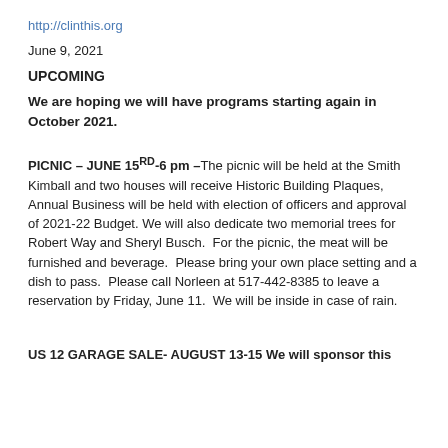http://clinthis.org
June 9, 2021
UPCOMING
We are hoping we will have programs starting again in October 2021.
PICNIC – JUNE 15RD-6 pm – The picnic will be held at the Smith Kimball and two houses will receive Historic Building Plaques, Annual Business will be held with election of officers and approval of 2021-22 Budget. We will also dedicate two memorial trees for Robert Way and Sheryl Busch. For the picnic, the meat will be furnished and beverage. Please bring your own place setting and a dish to pass. Please call Norleen at 517-442-8385 to leave a reservation by Friday, June 11. We will be inside in case of rain.
US 12 GARAGE SALE- AUGUST 13-15 We will sponsor this